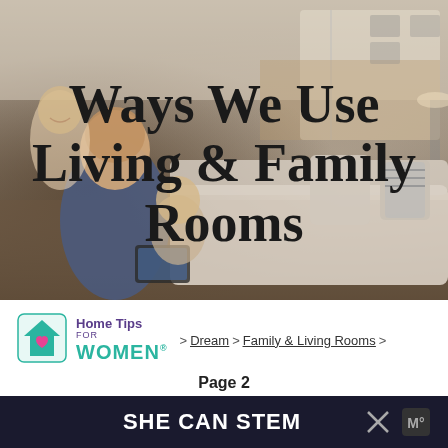[Figure (photo): Family sitting together on a couch in a living room; father holding a tablet, child nearby, woman smiling in background. Background shows a stylish home interior.]
Ways We Use Living & Family Rooms
[Figure (logo): Home Tips for WOMEN logo — house icon with heart, teal and purple colors]
> Dream > Family & Living Rooms >
Page 2
Content may contain referral links. Read our disclosure policy for information.
[Figure (screenshot): Dark blue banner at bottom reading SHE CAN STEM with an X close button and a small icon]